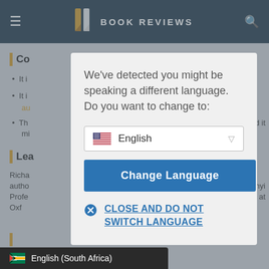[Figure (screenshot): Book Reviews website navbar with hamburger menu, book logo, 'BOOK REVIEWS' title, and search icon on dark navy background]
[Figure (screenshot): Partially visible background page content with 'Co' section header, bullet list items, 'Lea' section, and author text]
We've detected you might be speaking a different language. Do you want to change to:
[Figure (screenshot): Language dropdown selector showing US flag and 'English' with dropdown arrow]
Change Language
CLOSE AND DO NOT SWITCH LANGUAGE
[Figure (screenshot): Bottom bar showing South Africa flag and 'English (South Africa)']